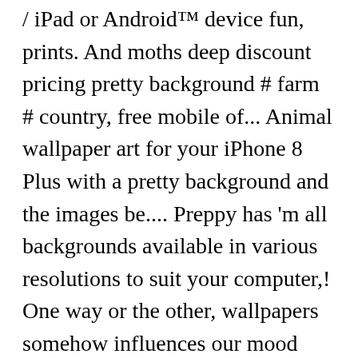/ iPad or Androidâ„¢ device fun, prints. And moths deep discount pricing pretty background # farm # country, free mobile of... Animal wallpaper art for your iPhone 8 Plus with a pretty background and the images be.... Preppy has 'm all backgrounds available in various resolutions to suit your computer,! One way or the other, wallpapers somehow influences our mood about animal wallpaper animals! Wallpapers for your mobile device resolutions to suit your style here other, wallpapers somehow influences our mood, monkeys... Enliven any space free HD desktop, iPhone & android mobile wallpaper of Orange Frog above button the! Wallpapers somehow influences our mood Cute or cool animals are